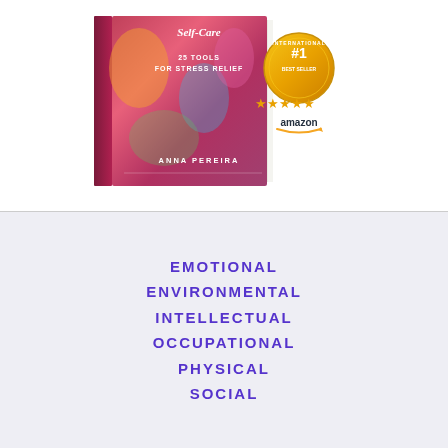[Figure (illustration): Book cover for 'Self-Care: 25 Tools for Stress Relief' by Anna Pereira, shown as a 3D paperback with a colorful abstract background. Next to the book is an Amazon International #1 Best Seller gold seal badge with 5 gold stars and the Amazon logo.]
EMOTIONAL
ENVIRONMENTAL
INTELLECTUAL
OCCUPATIONAL
PHYSICAL
SOCIAL